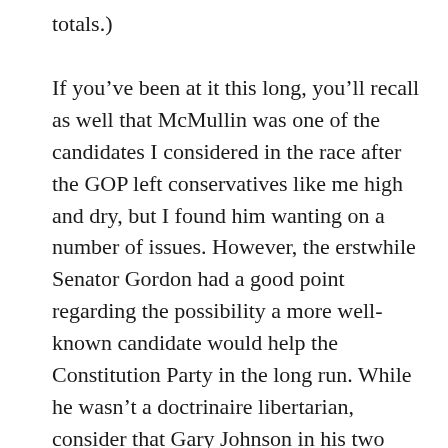totals.)
If you've been at it this long, you'll recall as well that McMullin was one of the candidates I considered in the race after the GOP left conservatives like me high and dry, but I found him wanting on a number of issues. However, the erstwhile Senator Gordon had a good point regarding the possibility a more well-known candidate would help the Constitution Party in the long run. While he wasn't a doctrinaire libertarian, consider that Gary Johnson in his two runs took the LP from onetime Republican Rep. Bob Barr's 523,713 votes in 2008 to nearly 4.5 million this time – exceeding an eightfold increase in eight years. The LP purists probably